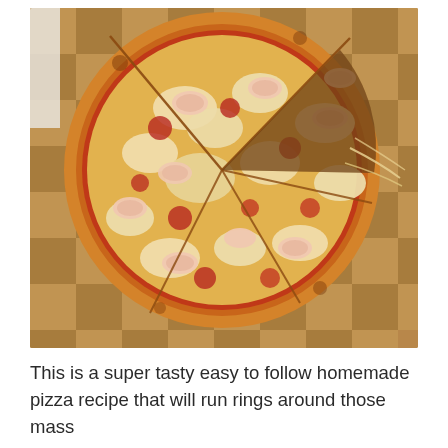[Figure (photo): A homemade pizza with melted cheese, shrimp, and red meat toppings on a wooden cutting board. The pizza is sliced into sections with one slice slightly pulled apart.]
This is a super tasty easy to follow homemade pizza recipe that will run rings around those mass